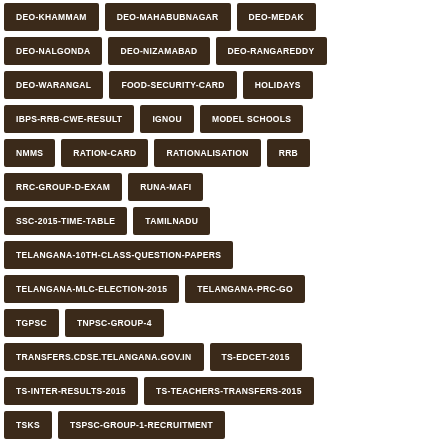DEO-KHAMMAM
DEO-MAHABUBNAGAR
DEO-MEDAK
DEO-NALGONDA
DEO-NIZAMABAD
DEO-RANGAREDDY
DEO-WARANGAL
FOOD-SECURITY-CARD
HOLIDAYS
IBPS-RRB-CWE-RESULT
IGNOU
MODEL SCHOOLS
NMMS
RATION-CARD
RATIONALISATION
RRB
RRC-GROUP-D-EXAM
RUNA-MAFI
SSC-2015-TIME-TABLE
TAMILNADU
TELANGANA-10TH-CLASS-QUESTION-PAPERS
TELANGANA-MLC-ELECTION-2015
TELANGANA-PRC-GO
TGPSC
TNPSC-GROUP-4
TRANSFERS.CDSE.TELANGANA.GOV.IN
TS-EDCET-2015
TS-INTER-RESULTS-2015
TS-TEACHERS-TRANSFERS-2015
TSKS
TSPSC-GROUP-1-RECRUITMENT